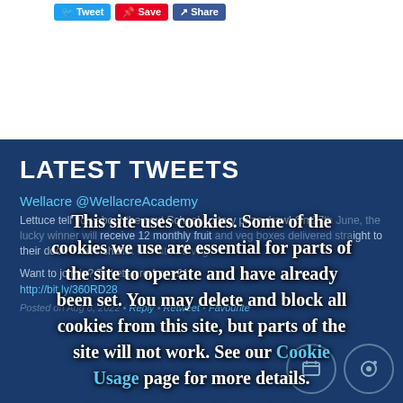[Figure (screenshot): Social share buttons: Tweet (blue), Save (red), Share (blue)]
LATEST TWEETS
Wellacre @WellacreAcademy
Lettuce tell you about the next School Lottery prize draw! On 27th June, the lucky winner will receive 12 monthly fruit and veg boxes delivered straight to their door. That's shallot of fruit and veg!
Want to join in? Tickets are from £1 http://bit.ly/360RD28
Posted on Aug 8, 2022 • Reply • Retweet • Favourite
UPCOMING EVENTS
This site uses cookies. Some of the cookies we use are essential for parts of the site to operate and have already been set. You may delete and block all cookies from this site, but parts of the site will not work. See our Cookie Usage page for more details.
I accept cookies from this site